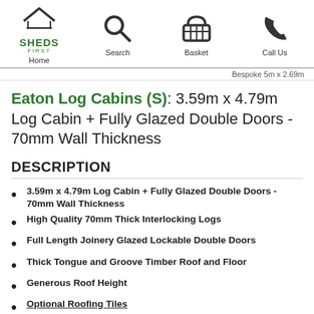Home | Search | Basket | Call Us
Bespoke 5m x 2.69m
Eaton Log Cabins (S): 3.59m x 4.79m Log Cabin + Fully Glazed Double Doors - 70mm Wall Thickness
DESCRIPTION
3.59m x 4.79m Log Cabin + Fully Glazed Double Doors - 70mm Wall Thickness
High Quality 70mm Thick Interlocking Logs
Full Length Joinery Glazed Lockable Double Doors
Thick Tongue and Groove Timber Roof and Floor
Generous Roof Height
Optional Roofing Tiles